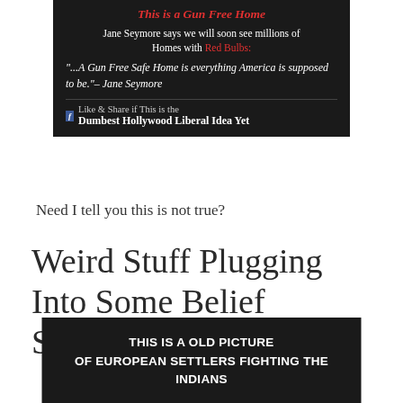[Figure (screenshot): Screenshot of a dark-background social media post about 'This is a Gun Free Home' with Jane Seymore quote and a call to share if it's the 'Dumbest Hollywood Liberal Idea Yet']
Need I tell you this is not true?
Weird Stuff Plugging Into Some Belief System I Do Not Know
[Figure (screenshot): Dark banner image with white bold text: 'THIS IS A OLD PICTURE OF EUROPEAN SETTLERS FIGHTING THE INDIANS']